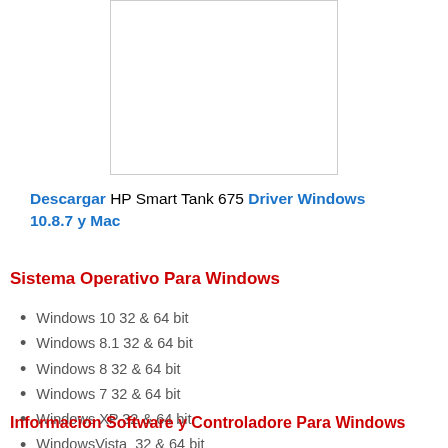[Figure (other): White rectangular image placeholder with light gray border]
Descargar HP Smart Tank 675 Driver Windows 10.8.7 y Mac
Sistema Operativo Para Windows
Windows 10 32 & 64 bit
Windows 8.1 32 & 64 bit
Windows 8 32 & 64 bit
Windows 7 32 & 64 bit
Windows XP 32 & 64 bit
WindowsVista  32 & 64 bit
Informacion Software y Controladore Para Windows